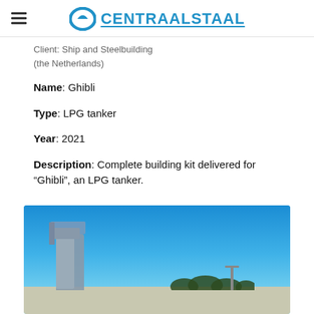CENTRAALSTAAL
Client: Ship and Steelbuilding (the Netherlands)
Name: Ghibli
Type: LPG tanker
Year: 2021
Description: Complete building kit delivered for “Ghibli”, an LPG tanker.
[Figure (photo): Outdoor photo showing a ship structure or crane against a clear blue sky, with trees and flat ground visible in the background.]